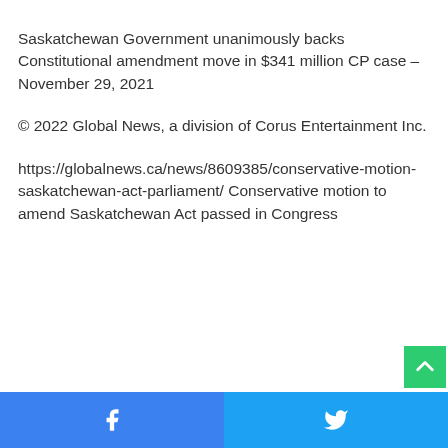Saskatchewan Government unanimously backs Constitutional amendment move in $341 million CP case – November 29, 2021
© 2022 Global News, a division of Corus Entertainment Inc.
https://globalnews.ca/news/8609385/conservative-motion-saskatchewan-act-parliament/ Conservative motion to amend Saskatchewan Act passed in Congress